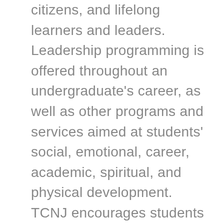citizens, and lifelong learners and leaders. Leadership programming is offered throughout an undergraduate's career, as well as other programs and services aimed at students' social, emotional, career, academic, spiritual, and physical development. TCNJ encourages students to expand their talents and skills through more than 200 campus organizations. These groups range from performing ensembles and professional and honor societies to student publications, Greek organizations, and intramural and club sports.
High achievement and scholarship in the